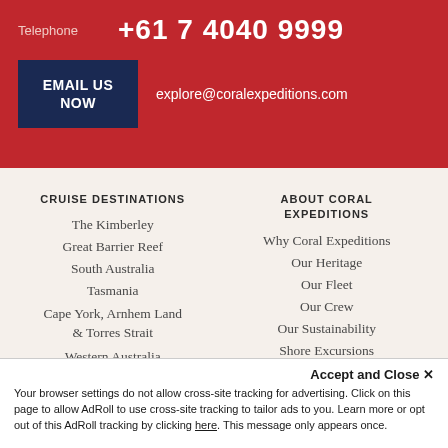Telephone  +61 7 4040 9999
EMAIL US NOW  explore@coralexpeditions.com
CRUISE DESTINATIONS
The Kimberley
Great Barrier Reef
South Australia
Tasmania
Cape York, Arnhem Land & Torres Strait
Western Australia
New Zealand
ABOUT CORAL EXPEDITIONS
Why Coral Expeditions
Our Heritage
Our Fleet
Our Crew
Our Sustainability
Shore Excursions
Onboard
Accept and Close ✕ Your browser settings do not allow cross-site tracking for advertising. Click on this page to allow AdRoll to use cross-site tracking to tailor ads to you. Learn more or opt out of this AdRoll tracking by clicking here. This message only appears once.